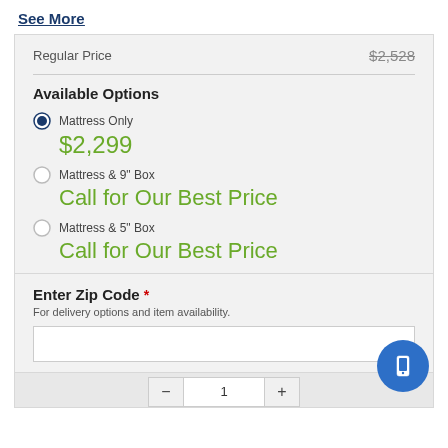See More
Regular Price  $2,528
Available Options
Mattress Only  $2,299
Mattress & 9" Box  Call for Our Best Price
Mattress & 5" Box  Call for Our Best Price
Enter Zip Code *
For delivery options and item availability.